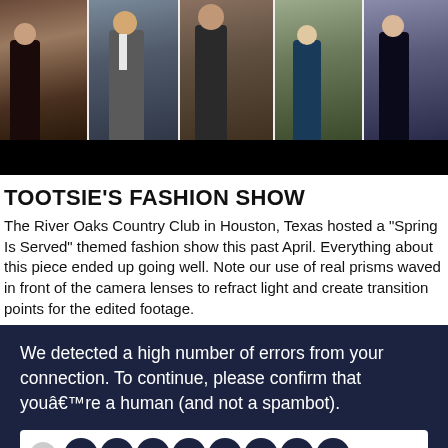[Figure (photo): Photo strip showing people at what appears to be an outdoor event or venue, with multiple panels showing different individuals wearing lanyards/credentials.]
TOOTSIE'S FASHION SHOW
The River Oaks Country Club in Houston, Texas hosted a "Spring Is Served" themed fashion show this past April. Everything about this piece ended up going well. Note our use of real prisms waved in front of the camera lenses to refract light and create transition points for the edited footage.
We detected a high number of errors from your connection. To continue, please confirm that youâ€™re a human (and not a spambot).